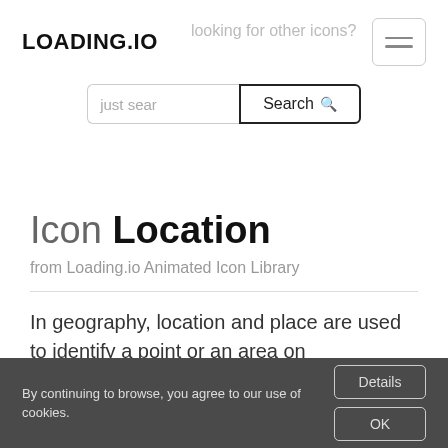LOADING.IO
looking for other icons?
[Figure (screenshot): Hamburger menu button icon with three horizontal lines]
just search | Search
Icon Location
from Loading.io Animated Icon Library
In geography, location and place are used to identify a point or an area on
By continuing to browse, you agree to our use of cookies.
Details
OK